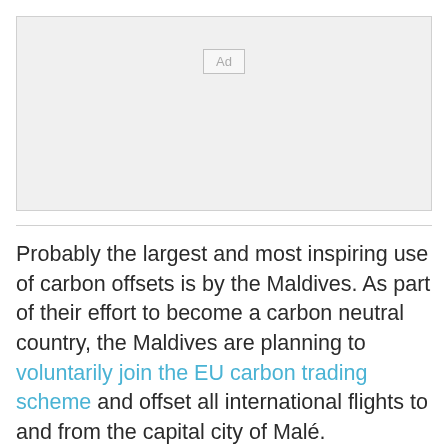[Figure (other): Advertisement placeholder box with 'Ad' label centered near top]
Probably the largest and most inspiring use of carbon offsets is by the Maldives. As part of their effort to become a carbon neutral country, the Maldives are planning to voluntarily join the EU carbon trading scheme and offset all international flights to and from the capital city of Malé. Depending on the outcome in Copenhagen and how it affects